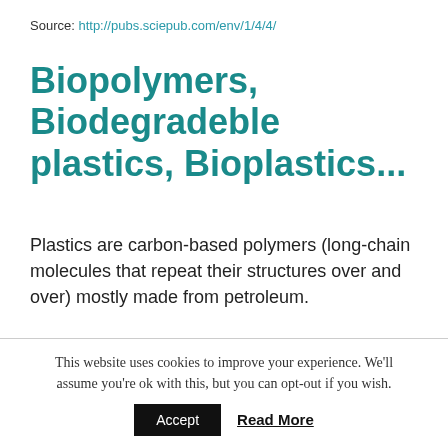Source: http://pubs.sciepub.com/env/1/4/4/
Biopolymers, Biodegradeble plastics, Bioplastics...
Plastics are carbon-based polymers (long-chain molecules that repeat their structures over and over) mostly made from petroleum.
The term bioplastic or biopolymer can be used to characterize two types of polymeric materials:
This website uses cookies to improve your experience. We'll assume you're ok with this, but you can opt-out if you wish.